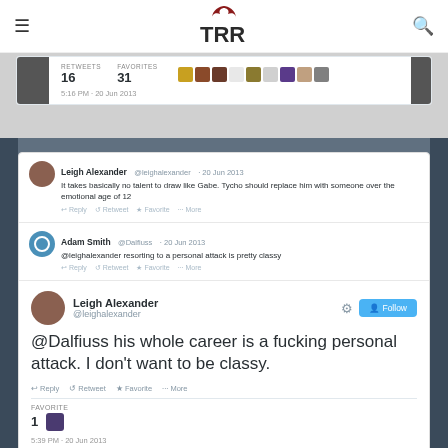TRR logo with hamburger menu and search icon
[Figure (screenshot): Partial Twitter card showing RETWEETS 16, FAVORITES 31, timestamp 5:16 PM - 20 Jun 2013]
[Figure (screenshot): Twitter screenshot showing three tweets: Leigh Alexander tweet 'It takes basically no talent to draw like Gabe. Tycho should replace him with someone over the emotional age of 12', Adam Smith @Dalfiuss reply '@leighalexander resorting to a personal attack is pretty classy', and expanded Leigh Alexander tweet '@Dalfiuss his whole career is a fucking personal attack. I don't want to be classy.' with FAVORITE 1, timestamp 5:39 PM - 20 Jun 2013]